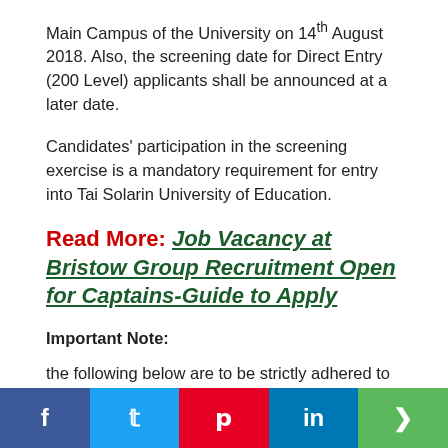Main Campus of the University on 14th August 2018. Also, the screening date for Direct Entry (200 Level) applicants shall be announced at a later date.
Candidates' participation in the screening exercise is a mandatory requirement for entry into Tai Solarin University of Education.
Read More: Job Vacancy at Bristow Group Recruitment Open for Captains-Guide to Apply
Important Note:
the following below are to be strictly adhered to before and after the screening examination
Applicants are not allowed to come to the hall with their mobile device other as it is prohibited in the examination